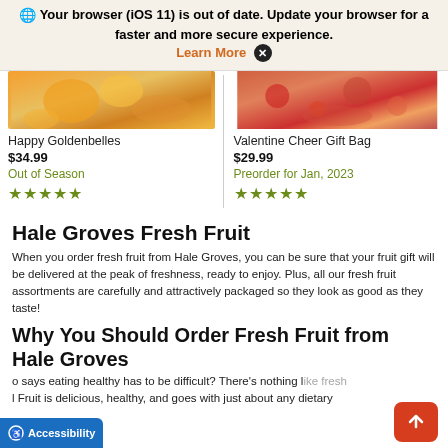🌐 Your browser (iOS 11) is out of date. Update your browser for a faster and more secure experience. Learn More ✕
[Figure (photo): Product photo: Happy Goldenbelles - orange slices on wooden surface]
Happy Goldenbelles
$34.99
Out of Season
★★★★★
[Figure (photo): Product photo: Valentine Cheer Gift Bag - cranberries and citrus on cutting board]
Valentine Cheer Gift Bag
$29.99
Preorder for Jan, 2023
★★★★★
Hale Groves Fresh Fruit
When you order fresh fruit from Hale Groves, you can be sure that your fruit gift will be delivered at the peak of freshness, ready to enjoy. Plus, all our fresh fruit assortments are carefully and attractively packaged so they look as good as they taste!
Why You Should Order Fresh Fruit from Hale Groves
o says eating healthy has to be difficult? There's nothing like fresh l Fruit is delicious, healthy, and goes with just about any dietary